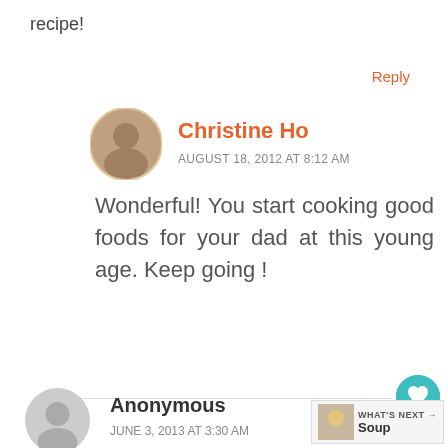recipe!
Reply
Christine Ho
AUGUST 18, 2012 AT 8:12 AM
Wonderful! You start cooking good foods for your dad at this young age. Keep going !
Anonymous
JUNE 3, 2013 AT 3:30 AM
I'm glad I found a recipe for Med Done. I don't care for bloody meat!